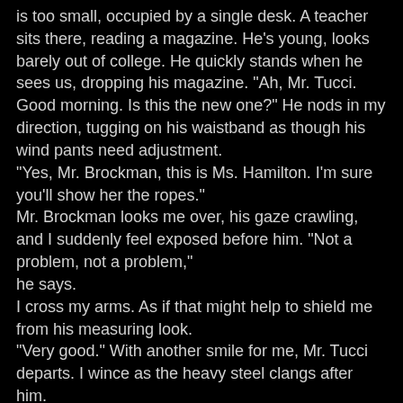is too small, occupied by a single desk. A teacher sits there, reading a magazine. He's young, looks barely out of college. He quickly stands when he sees us, dropping his magazine. "Ah, Mr. Tucci. Good morning. Is this the new one?" He nods in my direction, tugging on his waistband as though his wind pants need adjustment.
"Yes, Mr. Brockman, this is Ms. Hamilton. I'm sure you'll show her the ropes."
Mr. Brockman looks me over, his gaze crawling, and I suddenly feel exposed before him. "Not a problem, not a problem,"
he says.
I cross my arms. As if that might help to shield me from his measuring look.
"Very good." With another smile for me, Mr. Tucci departs. I wince as the heavy steel clangs after him.
And I'm left with Mr. Brockman and the others, HTS carriers whose stares I feel boring into me.
Mr. Brockman motions behind him. "Welcome to the Cage."
"The Cage?" I echo.
He chuckles. "Yep. That's what the kids call it. The name